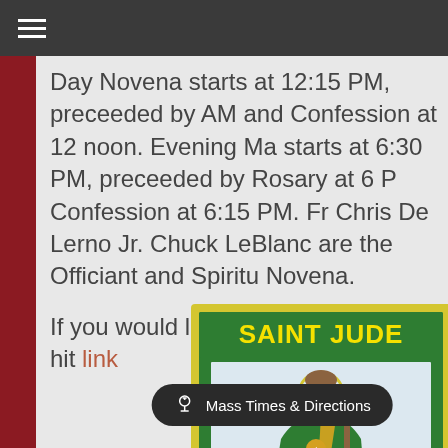Navigation bar with hamburger menu
Day Novena starts at 12:15 PM, preceeded by AM and Confession at 12 noon. Evening Ma starts at 6:30 PM, preceeded by Rosary at 6 PM, Confession at 6:15 PM. Fr Chris De Lerno Jr. and Chuck LeBlanc are the Officiant and Spiritual Novena.
If you would like a copy of the flyer hit link
[Figure (illustration): Saint Jude holy card image with green and yellow border, title SAINT JUDE in yellow bold text, illustration of Saint Jude holding a staff with a halo]
Mass Times & Directions